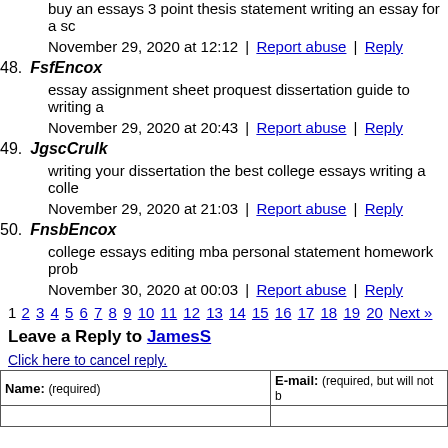buy an essays 3 point thesis statement writing an essay for a sc
November 29, 2020 at 12:12 | Report abuse | Reply
48. FsfEncox
essay assignment sheet proquest dissertation guide to writing a
November 29, 2020 at 20:43 | Report abuse | Reply
49. JgscCrulk
writing your dissertation the best college essays writing a colle
November 29, 2020 at 21:03 | Report abuse | Reply
50. FnsbEncox
college essays editing mba personal statement homework prob
November 30, 2020 at 00:03 | Report abuse | Reply
1 2 3 4 5 6 7 8 9 10 11 12 13 14 15 16 17 18 19 20 Next »
Leave a Reply to JamesS
Click here to cancel reply.
| Name: (required) | E-mail: (required, but will not b |
| --- | --- |
|  |  |